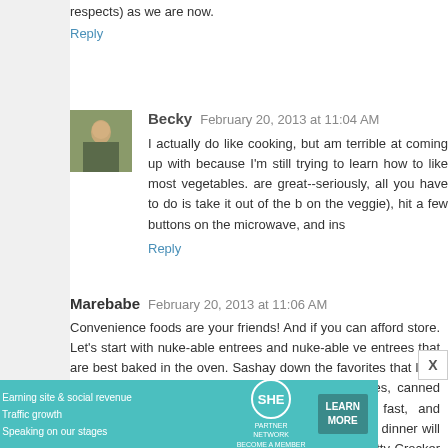respects) as we are now.
Reply
Becky  February 20, 2013 at 11:04 AM
I actually do like cooking, but am terrible at coming up with because I'm still trying to learn how to like most vegetables. are great--seriously, all you have to do is take it out of the b on the veggie), hit a few buttons on the microwave, and ins
Reply
Marebabe  February 20, 2013 at 11:06 AM
Convenience foods are your friends! And if you can afford store. Let's start with nuke-able entrees and nuke-able ve entrees that are best baked in the oven. Sashay down the favorites that leap to mind include Uncle Ben's rice, Stove soup mixes, canned soups, canned stews, canned chow m they're fast, and seriously undemanding. If you can mea temperature, dinner will be ready in just a few minutes. H made from the Betty Crocker mix.
Reply
[Figure (infographic): SHE Partner Network advertisement banner with teal background, woman photo, bullet points about earning site & social revenue, traffic growth, speaking on our stages, SHE logo, and LEARN MORE button]